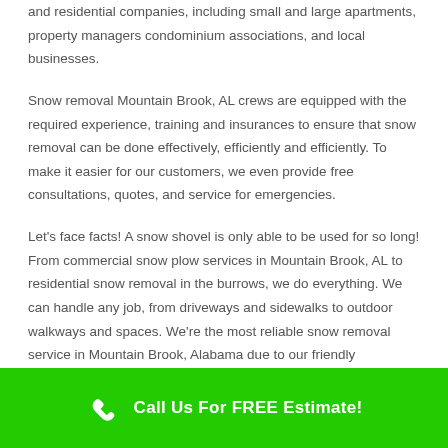and residential companies, including small and large apartments, property managers condominium associations, and local businesses.
Snow removal Mountain Brook, AL crews are equipped with the required experience, training and insurances to ensure that snow removal can be done effectively, efficiently and efficiently. To make it easier for our customers, we even provide free consultations, quotes, and service for emergencies.
Let's face facts! A snow shovel is only able to be used for so long! From commercial snow plow services in Mountain Brook, AL to residential snow removal in the burrows, we do everything. We can handle any job, from driveways and sidewalks to outdoor walkways and spaces. We're the most reliable snow removal service in Mountain Brook, Alabama due to our friendly
Call Us For FREE Estimate!